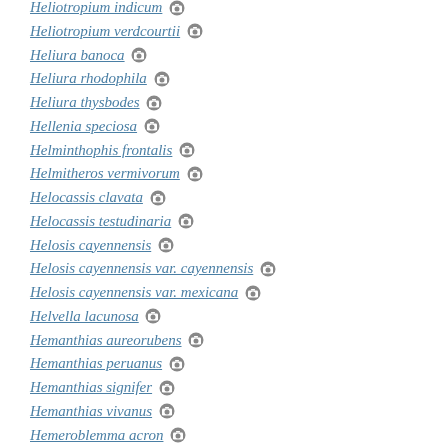Heliotropium indicum [camera]
Heliotropium verdcourtii [camera]
Heliura banoca [camera]
Heliura rhodophila [camera]
Heliura thysbodes [camera]
Hellenia speciosa [camera]
Helminthophis frontalis [camera]
Helmitheros vermivorum [camera]
Helocassis clavata [camera]
Helocassis testudinaria [camera]
Helosis cayennensis [camera]
Helosis cayennensis var. cayennensis [camera]
Helosis cayennensis var. mexicana [camera]
Helvella lacunosa [camera]
Hemanthias aureorubens [camera]
Hemanthias peruanus [camera]
Hemanthias signifer [camera]
Hemanthias vivanus [camera]
Hemeroblemma acron [camera]
Hemeroblemma dolosa [camera]
Hemeroblemma leontia [camera]
Hemeroblemma malitiosa [camera]
Hemeroblemma mexicana [camera]
Hemeroblemma ochrolinea [camera]